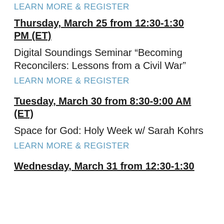LEARN MORE & REGISTER
Thursday, March 25 from 12:30-1:30 PM (ET)
Digital Soundings Seminar “Becoming Reconcilers: Lessons from a Civil War”
LEARN MORE & REGISTER
Tuesday, March 30 from 8:30-9:00 AM (ET)
Space for God: Holy Week w/ Sarah Kohrs
LEARN MORE & REGISTER
Wednesday, March 31 from 12:30-1:30